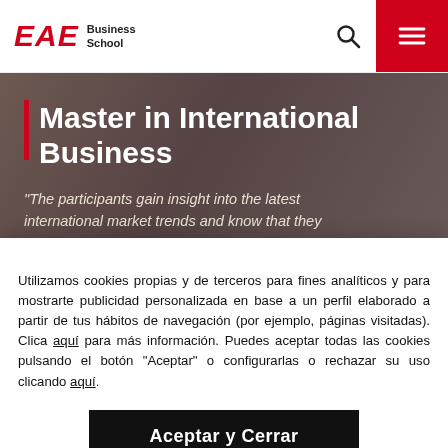EAE Business School
Master in International Business
"The participants gain insight into the latest international market trends and know that they
Utilizamos cookies propias y de terceros para fines analíticos y para mostrarte publicidad personalizada en base a un perfil elaborado a partir de tus hábitos de navegación (por ejemplo, páginas visitadas). Clica aquí para más información. Puedes aceptar todas las cookies pulsando el botón "Aceptar" o configurarlas o rechazar su uso clicando aquí.
Aceptar y Cerrar